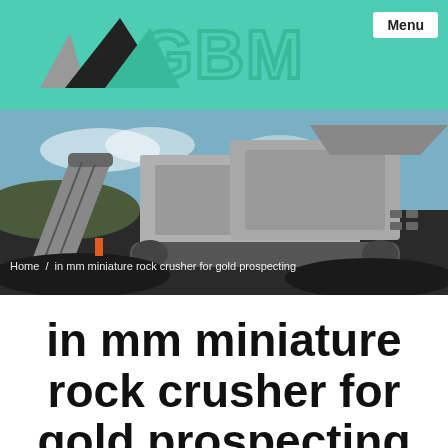[Figure (logo): GBM logo with mountain/triangle graphic in teal and black, with 'GBM' text in teal outline letters on a teal background header bar]
[Figure (photo): Large industrial mobile rock crusher machine photographed outdoors at a mining site. The machine is gray/silver with conveyor belts and sits on tracked undercarriage surrounded by dark crushed rock/gravel. Blue sky with clouds in background.]
Home / in mm miniature rock crusher for gold prospecting
in mm miniature rock crusher for gold prospecting